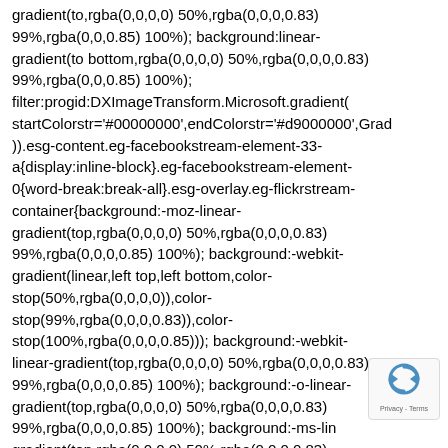gradient(to,rgba(0,0,0,0) 50%,rgba(0,0,0,0.83) 99%,rgba(0,0,0.85) 100%); background:linear-gradient(to bottom,rgba(0,0,0,0) 50%,rgba(0,0,0,0.83) 99%,rgba(0,0,0.85) 100%); filter:progid:DXImageTransform.Microsoft.gradient(startColorstr='#00000000',endColorstr='#d9000000',Grad)).esg-content.eg-facebookstream-element-33-a{display:inline-block}.eg-facebookstream-element-0{word-break:break-all}.esg-overlay.eg-flickrstream-container{background:-moz-linear-gradient(top,rgba(0,0,0,0) 50%,rgba(0,0,0,0.83) 99%,rgba(0,0,0,0.85) 100%); background:-webkit-gradient(linear,left top,left bottom,color-stop(50%,rgba(0,0,0,0)),color-stop(99%,rgba(0,0,0,0.83)),color-stop(100%,rgba(0,0,0,0.85))); background:-webkit-linear-gradient(top,rgba(0,0,0,0) 50%,rgba(0,0,0,0.83) 99%,rgba(0,0,0,0.85) 100%); background:-o-linear-gradient(top,rgba(0,0,0,0) 50%,rgba(0,0,0,0.83) 99%,rgba(0,0,0,0.85) 100%); background:-ms-linear-gradient(top,rgba(0,0,0,0) 50%,rgba(0,0,0,0.83) 99%,rgba(0,0,0,0.85) 100%); background:linear-gradient(to bottom,rgba(0,0,0,0) 50%,rgba(0,0,0,0.83)
[Figure (logo): reCAPTCHA badge with arrow icon and Privacy - Terms text]